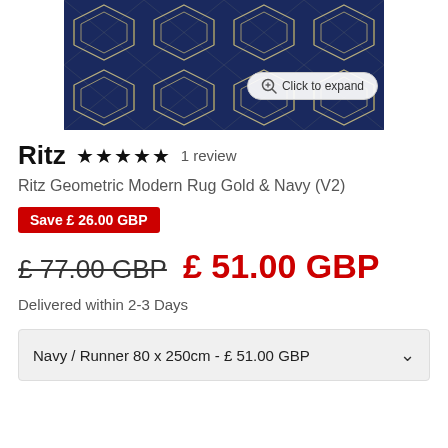[Figure (photo): Ritz Geometric Modern Rug Gold & Navy pattern - close-up of dark navy blue rug with geometric gold/white diamond lattice pattern]
Ritz ★★★★★ 1 review
Ritz Geometric Modern Rug Gold & Navy (V2)
Save £ 26.00 GBP
£ 77.00 GBP  £ 51.00 GBP
Delivered within 2-3 Days
Navy / Runner 80 x 250cm - £ 51.00 GBP